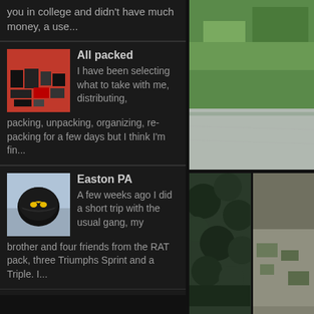you in college and didn't have much money, a use...
[Figure (photo): Thumbnail of packed gear/equipment spread on floor]
All packed
I have been selecting what to take with me, distributing, packing, unpacking, organizing, re-packing for a few days but I think I'm fin...
[Figure (photo): Thumbnail of black motorcycle helmet with yellow batman logo]
Easton PA
A few weeks ago I did a short trip with the usual gang, my brother and four friends from the RAT pack, three Triumphs Sprint and a Triple. I...
[Figure (photo): Outdoor grass and road photo - top right]
[Figure (photo): Outdoor dark green foliage - bottom left]
[Figure (photo): Outdoor grey/grass scene - bottom right]